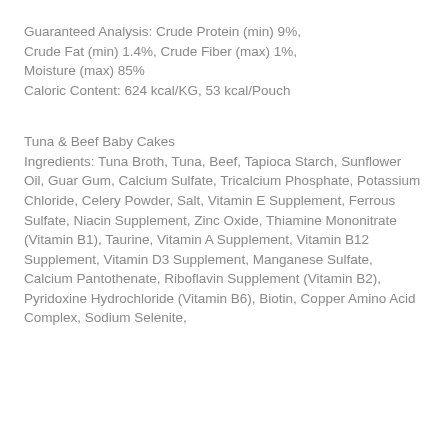Guaranteed Analysis: Crude Protein (min) 9%, Crude Fat (min) 1.4%, Crude Fiber (max) 1%, Moisture (max) 85% Caloric Content: 624 kcal/KG, 53 kcal/Pouch
Tuna & Beef Baby Cakes Ingredients: Tuna Broth, Tuna, Beef, Tapioca Starch, Sunflower Oil, Guar Gum, Calcium Sulfate, Tricalcium Phosphate, Potassium Chloride, Celery Powder, Salt, Vitamin E Supplement, Ferrous Sulfate, Niacin Supplement, Zinc Oxide, Thiamine Mononitrate (Vitamin B1), Taurine, Vitamin A Supplement, Vitamin B12 Supplement, Vitamin D3 Supplement, Manganese Sulfate, Calcium Pantothenate, Riboflavin Supplement (Vitamin B2), Pyridoxine Hydrochloride (Vitamin B6), Biotin, Copper Amino Acid Complex, Sodium Selenite,